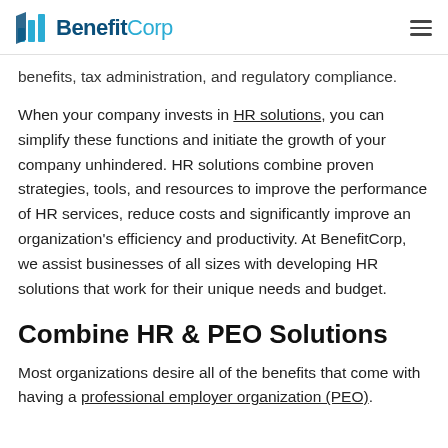BenefitCorp
benefits, tax administration, and regulatory compliance.
When your company invests in HR solutions, you can simplify these functions and initiate the growth of your company unhindered. HR solutions combine proven strategies, tools, and resources to improve the performance of HR services, reduce costs and significantly improve an organization's efficiency and productivity. At BenefitCorp, we assist businesses of all sizes with developing HR solutions that work for their unique needs and budget.
Combine HR & PEO Solutions
Most organizations desire all of the benefits that come with having a professional employer organization (PEO).